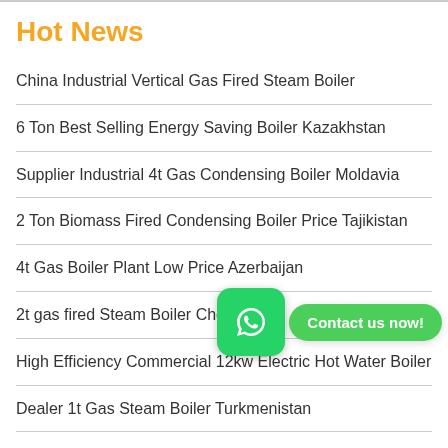Hot News
China Industrial Vertical Gas Fired Steam Boiler
6 Ton Best Selling Energy Saving Boiler Kazakhstan
Supplier Industrial 4t Gas Condensing Boiler Moldavia
2 Ton Biomass Fired Condensing Boiler Price Tajikistan
4t Gas Boiler Plant Low Price Azerbaijan
2t gas fired Steam Boiler Cheap … baijan
High Efficiency Commercial 12kw Electric Hot Water Boiler
Dealer 1t Gas Steam Boiler Turkmenistan
Small Straw Solid Boiler In Hotel